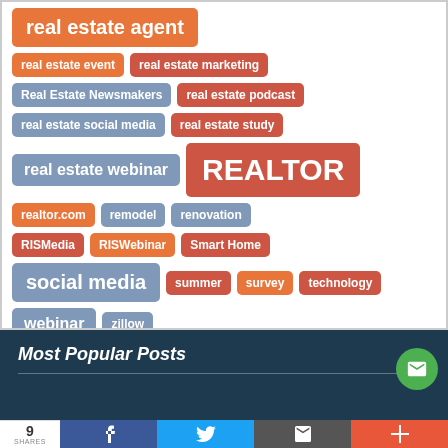[Figure (infographic): Tag cloud with colored pill-shaped tags in blue, orange, and red/salmon colors. Tags include: real estate agent (partial, top), real estate event, real estate marketing, Real Estate Newsmakers, real estate podcast, real estate social media, real estate study, real estate webinar, REALTOR (large), realtor.com, remodel, renovation, RISMedia, RISWebinar, Smart Home, social media (large), summer, survey, technology, webinar, zillow]
Most Popular Posts
9 SHARES